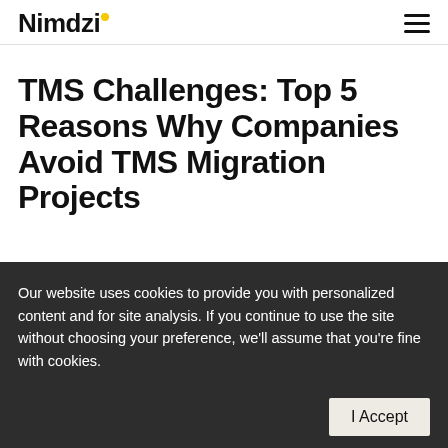Nimdzi
TMS Challenges: Top 5 Reasons Why Companies Avoid TMS Migration Projects
Our website uses cookies to provide you with personalized content and for site analysis. If you continue to use the site without choosing your preference, we'll assume that you're fine with cookies.
I Accept